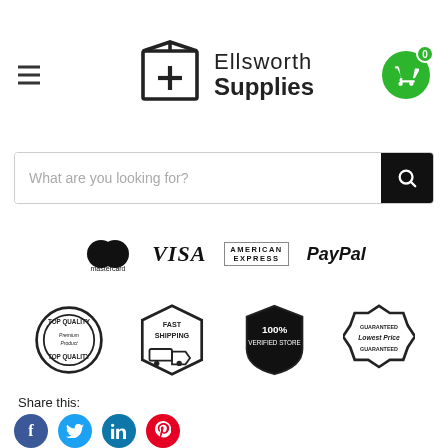[Figure (logo): Ellsworth Supplies logo with box icon and text, hamburger menu on left, shopping cart with '0' badge on right]
[Figure (screenshot): Search bar with placeholder text 'What are you looking for?' and black search button]
[Figure (logo): Payment method logos: Mastercard, VISA, American Express, PayPal]
[Figure (logo): Trust badges: Top Quality Premium Product, Fast Shipping, 100% Verified Store, Guaranteed Lowest Price]
Share this:
[Figure (infographic): Social share buttons: Facebook (blue), Twitter (light blue), LinkedIn (teal), Pinterest (red)]